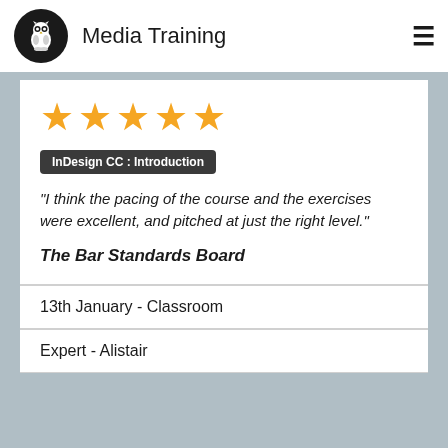Media Training
[Figure (other): Five gold star rating icons]
InDesign CC : Introduction
"I think the pacing of the course and the exercises were excellent, and pitched at just the right level."
The Bar Standards Board
13th January - Classroom
Expert - Alistair